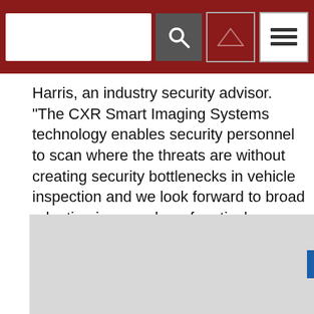[search bar] [search button] [up button] [menu button]
Harris, an industry security advisor. “The CXR Smart Imaging Systems technology enables security personnel to scan where the threats are without creating security bottlenecks in vehicle inspection and we look forward to broad adoption in a number of vertical markets.”
The undisclosed number of units will be delivered and deployed beginning in 2021.
[Figure (photo): Light gray image placeholder at the bottom of the page with a small blue tab on the right side]